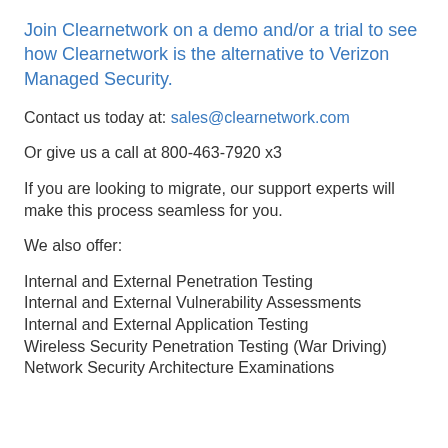Join Clearnetwork on a demo and/or a trial to see how Clearnetwork is the alternative to Verizon Managed Security.
Contact us today at: sales@clearnetwork.com
Or give us a call at 800-463-7920 x3
If you are looking to migrate, our support experts will make this process seamless for you.
We also offer:
Internal and External Penetration Testing
Internal and External Vulnerability Assessments
Internal and External Application Testing
Wireless Security Penetration Testing (War Driving)
Network Security Architecture Examinations